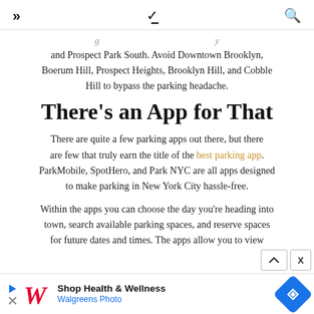» ∨ 🔍
and Prospect Park South. Avoid Downtown Brooklyn, Boerum Hill, Prospect Heights, Brooklyn Hill, and Cobble Hill to bypass the parking headache.
There's an App for That
There are quite a few parking apps out there, but there are few that truly earn the title of the best parking app. ParkMobile, SpotHero, and Park NYC are all apps designed to make parking in New York City hassle-free.
Within the apps you can choose the day you're heading into town, search available parking spaces, and reserve spaces for future dates and times. The apps allow you to view
[Figure (other): Walgreens Photo advertisement banner at the bottom of the page with logo, 'Shop Health & Wellness' text, and blue diamond navigation icon]